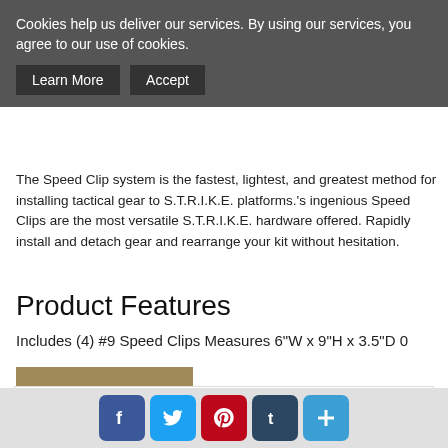Cookies help us deliver our services. By using our services, you agree to our use of cookies.
Learn More   Accept
The Speed Clip system is the fastest, lightest, and greatest method for installing tactical gear to S.T.R.I.K.E. platforms.'s ingenious Speed Clips are the most versatile S.T.R.I.K.E. hardware offered. Rapidly install and detach gear and rearrange your kit without hesitation.
Product Features
Includes (4) #9 Speed Clips Measures 6"W x 9"H x 3.5"D 0
Customer Reviews
Write a Review
Name